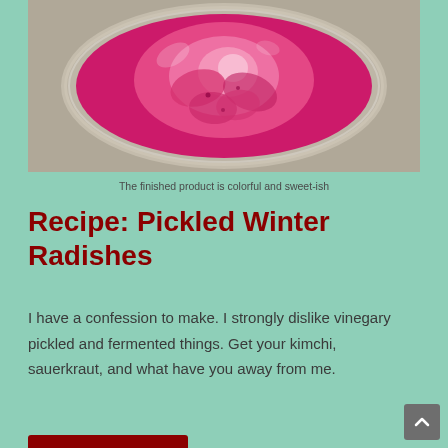[Figure (photo): Top-down view of a glass jar containing pickled radishes in bright pink/magenta brine, viewed from above showing the vibrant color of the pickling liquid and sliced radishes.]
The finished product is colorful and sweet-ish
Recipe: Pickled Winter Radishes
I have a confession to make. I strongly dislike vinegary pickled and fermented things. Get your kimchi, sauerkraut, and what have you away from me.